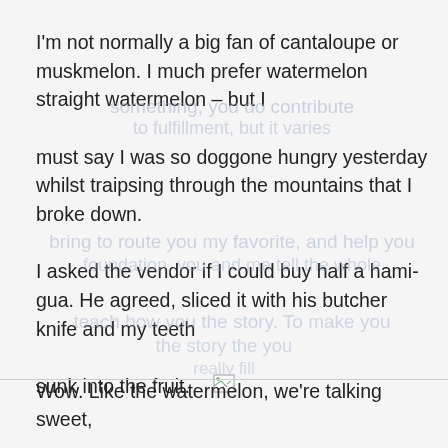I'm not normally a big fan of cantaloupe or muskmelon. I much prefer watermelon straight watermelon – but I must say I was so doggone hungry yesterday whilst traipsing through the mountains that I broke down. I asked the vendor if I could buy half a hami-gua. He agreed, sliced it with his butcher knife and my teeth sunk into the fruit.
[Figure (illustration): Small broken/missing image icon]
Wow. Like the watermelon, we're talking sweet,